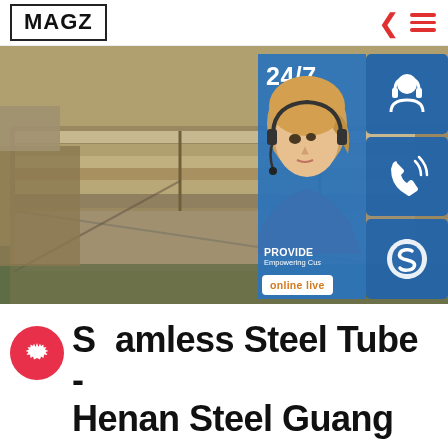MAGZ
[Figure (photo): Stacked steel/metal plates in a warehouse with a 24/7 customer service overlay panel showing a headset-wearing woman, phone icon, Skype icon, and 'online live' button]
Seamless Steel Tube - Henan Steel Guang